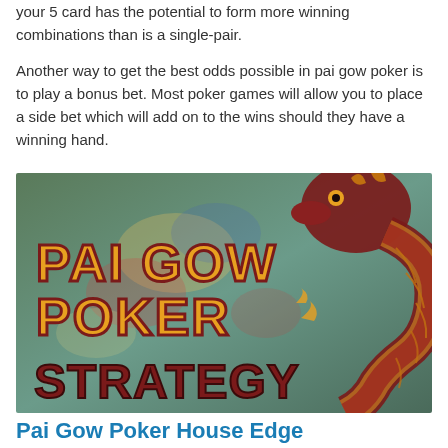your 5 card has the potential to form more winning combinations than is a single-pair.

Another way to get the best odds possible in pai gow poker is to play a bonus bet. Most poker games will allow you to place a side bet which will add on to the wins should they have a winning hand.
[Figure (illustration): An illustrated image showing 'PAI GOW POKER STRATEGY' text in decorative orange/gold font with a red and gold dragon on the right side, over a blurred background of playing cards and poker chips.]
Pai Gow Poker House Edge